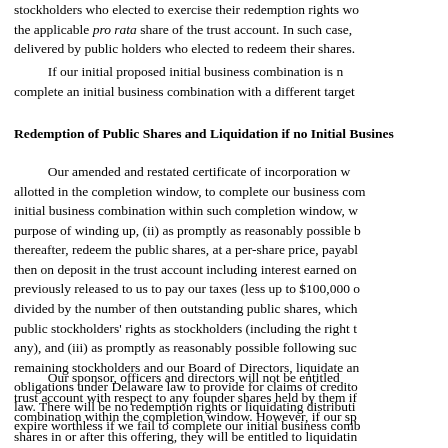If our initial business combination is not approved by stockholders who elected to exercise their redemption rights would receive the applicable pro rata share of the trust account. In such case, delivered by public holders who elected to redeem their shares.
If our initial proposed initial business combination is not complete an initial business combination with a different target
Redemption of Public Shares and Liquidation if no Initial Business
Our amended and restated certificate of incorporation would be allotted in the completion window, to complete our business combination. If we have not completed our initial business combination within such completion window, we will: (i) cease all operations except for the purpose of winding up, (ii) as promptly as reasonably possible but not more than ten business days thereafter, redeem the public shares, at a per-share price, payable in cash, equal to the aggregate amount then on deposit in the trust account including interest earned on the funds held in the trust account and not previously released to us to pay our taxes (less up to $100,000 of interest to pay dissolution expenses), divided by the number of then outstanding public shares, which redemption will completely extinguish public stockholders' rights as stockholders (including the right to receive further liquidating distributions, if any), and (iii) as promptly as reasonably possible following such redemption, subject to the approval of our remaining stockholders and our Board of Directors, liquidate and dissolve, subject to our obligations under Delaware law to provide for claims of creditors and the requirements of other applicable law. There will be no redemption rights or liquidating distributions with respect to our warrants, which will expire worthless if we fail to complete our initial business combination within the completion window.
Our sponsor, officers and directors will not be entitled to liquidating distributions from the trust account with respect to any founder shares held by them if we fail to complete our initial business combination within the completion window. However, if our sponsor, officers or directors acquire public shares in or after this offering, they will be entitled to liquidating distributions from the trust account with respect to such public shares if we fail to complete our initial business combination within the applicable month time period.